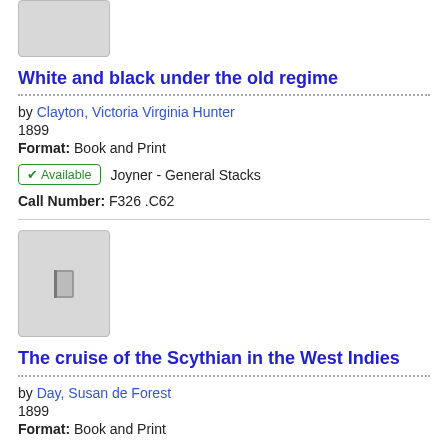[Figure (illustration): Thumbnail of a book cover, gray placeholder with book icon, partially cropped at top]
White and black under the old regime
by Clayton, Victoria Virginia Hunter
1899
Format: Book and Print
✔ Available   Joyner - General Stacks
Call Number: F326 .C62
[Figure (illustration): Thumbnail of a book cover, gray placeholder with book icon]
The cruise of the Scythian in the West Indies
by Day, Susan de Forest
1899
Format: Book and Print